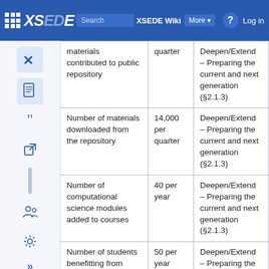XSEDE Wiki — Search XSEDE Wiki — More — Log in
| Metric | Target | Goal |
| --- | --- | --- |
| materials contributed to public repository | quarter | Deepen/Extend – Preparing the current and next generation (§2.1.3) |
| Number of materials downloaded from the repository | 14,000 per quarter | Deepen/Extend – Preparing the current and next generation (§2.1.3) |
| Number of computational science modules added to courses | 40 per year | Deepen/Extend – Preparing the current and next generation (§2.1.3) |
| Number of students benefitting from XSEDE... | 50 per year | Deepen/Extend – Preparing the current and next generation (§2.1.3) |